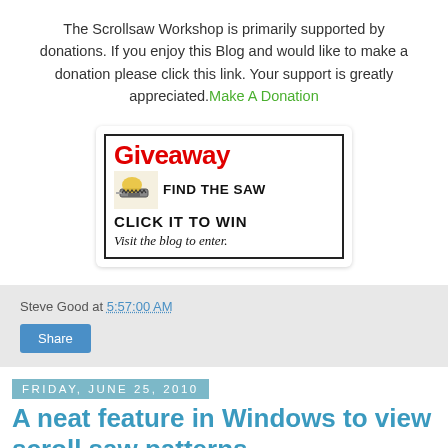The Scrollsaw Workshop is primarily supported by donations. If you enjoy this Blog and would like to make a donation please click this link. Your support is greatly appreciated. Make A Donation
[Figure (other): Giveaway banner: red 'Giveaway' title text, scrollsaw icon image, text 'FIND THE SAW CLICK IT TO WIN Visit the blog to enter.']
Steve Good at 5:57:00 AM
Share
Friday, June 25, 2010
A neat feature in Windows to view scroll saw patterns.